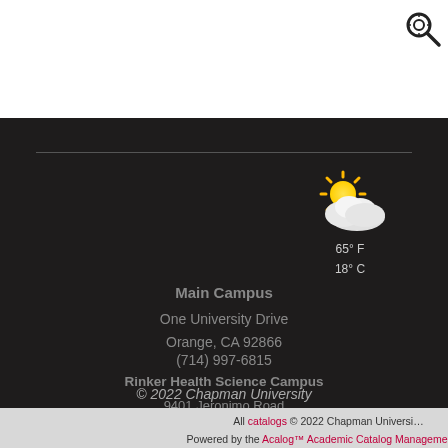[Figure (other): Magnifying glass search icon in top right corner]
[Figure (illustration): Partly cloudy weather icon with sun and clouds, showing 65°F / 18°C]
Main Campus
One University Drive
Orange, CA 92866
(714) 997-6815
Rinker Health Science Campus
9401 Jeronimo Road
Irvine, CA 92618
© 2022 Chapman University
All catalogs © 2022 Chapman University
Powered by the Acalog™ Academic Catalog Management